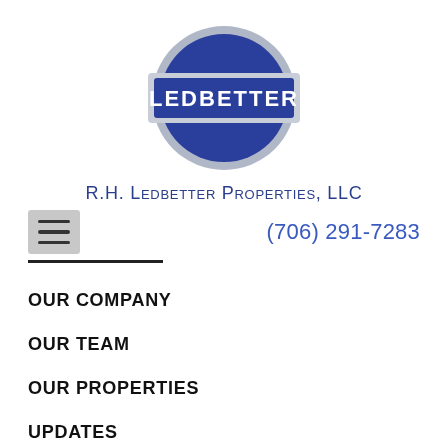[Figure (logo): Ledbetter logo: blue circle with a gray rectangular banner reading LEDBETTER in white capital letters]
R.H. Ledbetter Properties, LLC
(706) 291-7283
OUR COMPANY
OUR TEAM
OUR PROPERTIES
UPDATES
CONTACT US